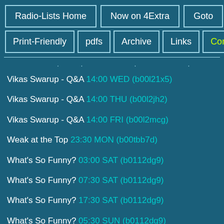Radio-Lists Home | Now on 4Extra | Goto | Print-Friendly | pdfs | Archive | Links | Contact
Vikas Swarup - Q&A 14:00 WED (b00l21x5)
Vikas Swarup - Q&A 14:00 THU (b00l2jh2)
Vikas Swarup - Q&A 14:00 FRI (b00l2mcg)
Weak at the Top 23:30 MON (b00tbb7d)
What's So Funny? 03:00 SAT (b0112dg9)
What's So Funny? 07:30 SAT (b0112dg9)
What's So Funny? 17:30 SAT (b0112dg9)
What's So Funny? 05:30 SUN (b0112dg9)
What's So Funny? 10:00 FRI (b011f7m1)